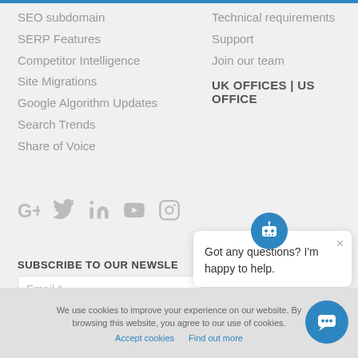SEO subdomain
SERP Features
Competitor Intelligence
Site Migrations
Google Algorithm Updates
Search Trends
Share of Voice
Technical requirements
Support
Join our team
UK OFFICES | US OFFICE
[Figure (infographic): Social media icons: Google+, Twitter, LinkedIn, YouTube, Instagram]
SUBSCRIBE TO OUR NEWSLE
Email *
Got any questions? I'm happy to help.
We use cookies to improve your experience on our website. By browsing this website, you agree to our use of cookies.
Accept cookies  Find out more